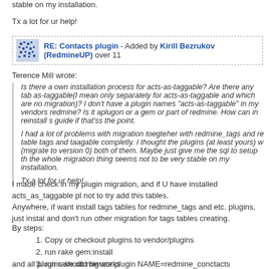stable on my installation.
Tx a lot for ur help!
RE: Contacts plugin - Added by Kirill Bezrukov (RedmineUP) over 11
Terence Mill wrote:
Is there a own installation process for acts-as-taggable? Are there any tab as-taggable(I mean only separately for acts-as-taggable and which are no migration)? I don't have a plugin names "acts-as-taggable" in my vendors redmine? Is it aplugon or a gem or part of redmine. How can in reinstall s guide if that'ss the point.

I had a lot of problems with migration toegteher with redmine_tags and re table tags and taagable completly. I thought the plugins (at least yours) w (migrate to version 0) both of them. Maybe just give me the sql to setup th the whole migration thing seems not to be very stable on my installation.

Tx a lot for ur help!
I made check in my plugin migration, and if U have installed acts_as_taggable pl not to try add this tables.
Anywhere, if want install tags tables for redmine_tags and etc. plugins, just instal and don't run other migration for tags tables creating.
By steps:
Copy or checkout plugins to vendor/plugins
run rake gem:install
run rake db:migrate:plugin NAME=redmine_conctacts RAILS_ENV=produ
and all plugins should be works